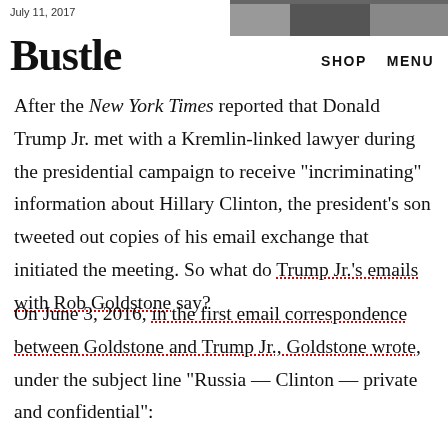July 11, 2017
[Figure (photo): Partial photo of a person, cropped at top right of page]
Bustle
SHOP   MENU
After the New York Times reported that Donald Trump Jr. met with a Kremlin-linked lawyer during the presidential campaign to receive "incriminating" information about Hillary Clinton, the president's son tweeted out copies of his email exchange that initiated the meeting. So what do Trump Jr.'s emails with Rob Goldstone say?
On June 3, 2016, in the first email correspondence between Goldstone and Trump Jr., Goldstone wrote, under the subject line "Russia — Clinton — private and confidential":